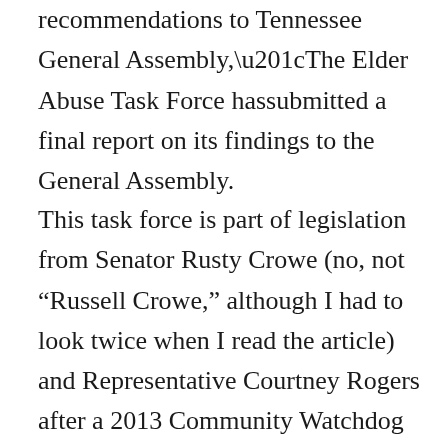recommendations to Tennessee General Assembly,“The Elder Abuse Task Force hassubmitted a final report on its findings to the General Assembly.
This task force is part of legislation from Senator Rusty Crowe (no, not “Russell Crowe,” although I had to look twice when I read the article) and Representative Courtney Rogers after a 2013 Community Watchdog investigation into the state’s abuse problem.